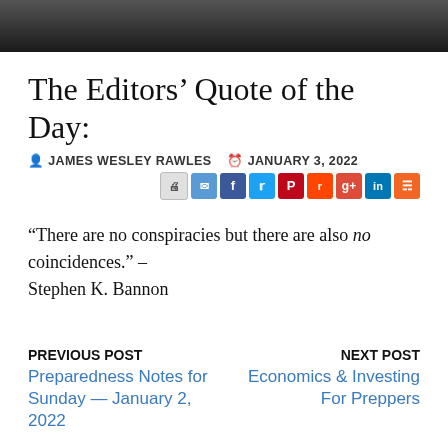[Figure (photo): Dark photograph of a person, cropped to show top portion only, dark background]
The Editors’ Quote of the Day:
JAMES WESLEY RAWLES   JANUARY 3, 2022
[Figure (infographic): Social share buttons: print, email, Facebook, Twitter, Pinterest, Reddit, Google+, LinkedIn, RSS]
“There are no conspiracies but there are also no coincidences.” – Stephen K. Bannon
PREVIOUS POST
Preparedness Notes for Sunday — January 2, 2022
NEXT POST
Economics & Investing For Preppers
Ad  The Good News About Nuclear Destruction.
The lethality of all nukes can be reduced by 90% when you know